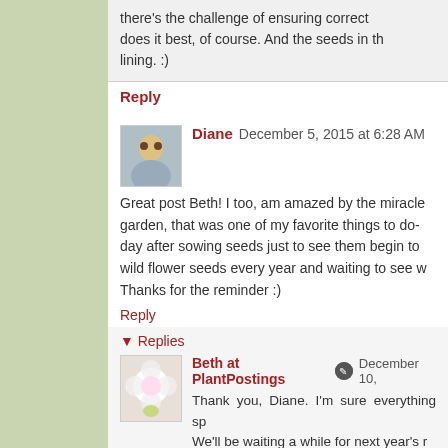there's the challenge of ensuring correct does it best, of course. And the seeds in th lining. :)
Reply
Diane December 5, 2015 at 6:28 AM
Great post Beth! I too, am amazed by the miracle garden, that was one of my favorite things to do- day after sowing seeds just to see them begin to wild flower seeds every year and waiting to see w Thanks for the reminder :)
Reply
▾ Replies
Beth at PlantPostings December 10,
Thank you, Diane. I'm sure everything sp We'll be waiting a while for next year's r this mild weather, some plants are sprouti